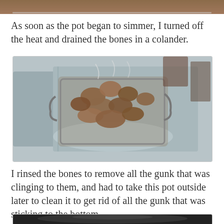[Figure (photo): Bottom portion of a previous photo, showing what appears to be meat or bones being cooked.]
As soon as the pot began to simmer, I turned off the heat and drained the bones in a colander.
[Figure (photo): Bones drained in a metal colander/strainer placed in a kitchen sink.]
I rinsed the bones to remove all the gunk that was clinging to them, and had to take this pot outside later to clean it to get rid of all the gunk that was sticking to the bottom.
[Figure (photo): Bottom portion of a pot showing gunk/residue sticking to the bottom.]